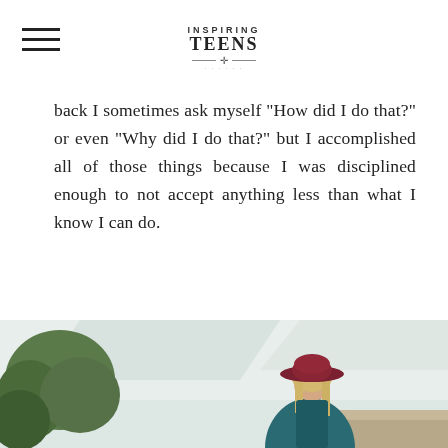INSPIRING TEENS
back I sometimes ask myself “How did I do that?” or even “Why did I do that?” but I accomplished all of those things because I was disciplined enough to not accept anything less than what I know I can do.
[Figure (photo): Young woman with long blonde hair wearing a wide-brimmed maroon/burgundy hat and teal/denim jacket, standing outdoors with trees and sky in the background]